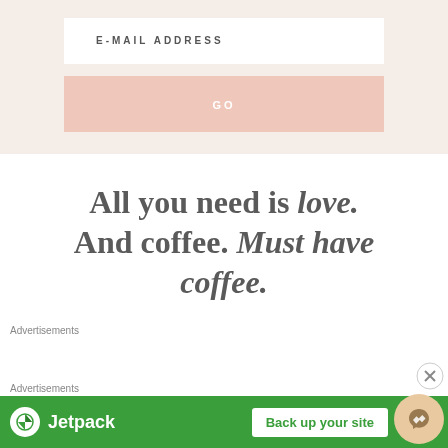E-MAIL ADDRESS
GO
All you need is love. And coffee. Must have coffee.
Advertisements
[Figure (screenshot): Jetpack advertisement banner with green background, Jetpack logo, and 'Back up your site' button]
[Figure (other): Close (X) button circle]
[Figure (other): Messenger chat bubble icon in gold/tan circle]